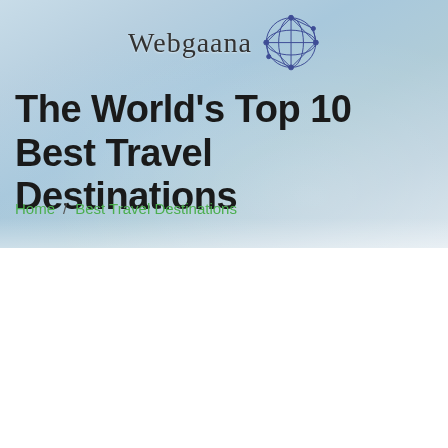Webgaana
The World's Top 10 Best Travel Destinations
Home / Best Travel Destinations